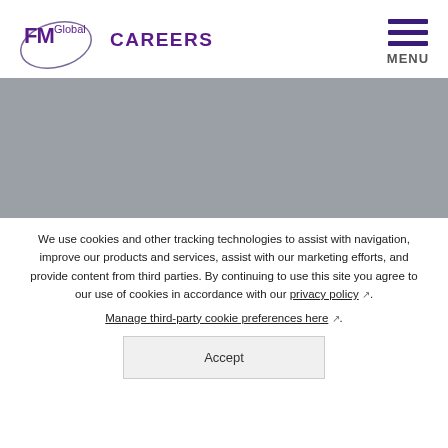[Figure (logo): FM Global logo with stylized oval and 'FM Global' text in purple]
CAREERS
[Figure (other): Hamburger menu icon with three horizontal dark purple lines and 'MENU' label below]
[Figure (photo): Gray banner image placeholder]
We use cookies and other tracking technologies to assist with navigation, improve our products and services, assist with our marketing efforts, and provide content from third parties. By continuing to use this site you agree to our use of cookies in accordance with our privacy policy. Manage third-party cookie preferences here.
Accept